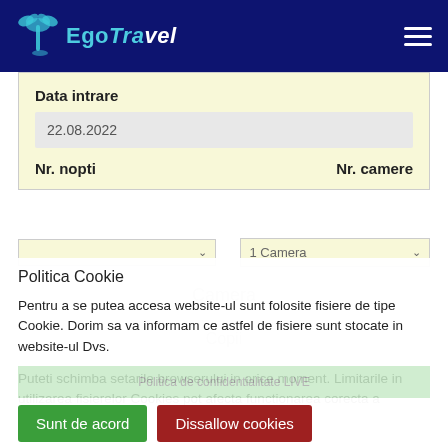[Figure (logo): EgoTravel logo with palm tree icon on dark navy background]
Data intrare
22.08.2022
Nr. nopti	Nr. camere
1 Camera
Politica Cookie
Pentru a se putea accesa website-ul sunt folosite fisiere de tipe Cookie. Dorim sa va informam ce astfel de fisiere sunt stocate in website-ul Dvs.
Puteti schimba setarile browserului in orice moment. Limitarile in utilizarea fisierelor Cookies pot afecta functionarea corecta a website-ului.
Sunt de acord
Dissallow cookies